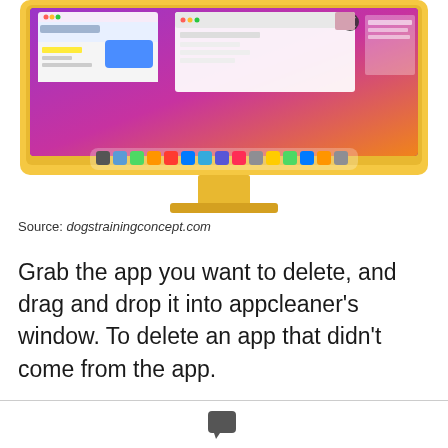[Figure (screenshot): Yellow iMac computer showing macOS desktop with purple/pink gradient wallpaper and dock at the bottom, displayed from a top-down angle showing the screen and stand]
Source: dogstrainingconcept.com
Grab the app you want to delete, and drag and drop it into appcleaner's window. To delete an app that didn't come from the app.
Leave a Comment